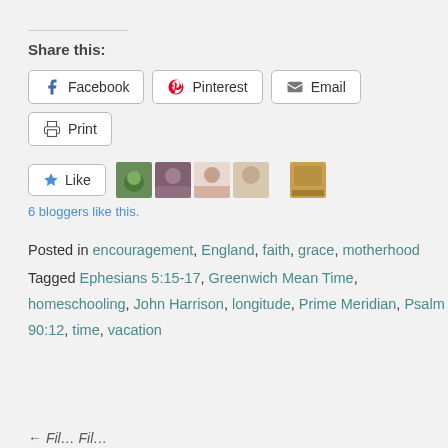Share this:
Facebook
Pinterest
Email
Print
Like
6 bloggers like this.
Posted in encouragement, England, faith, grace, motherhood
Tagged Ephesians 5:15-17, Greenwich Mean Time, homeschooling, John Harrison, longitude, Prime Meridian, Psalm 90:12, time, vacation